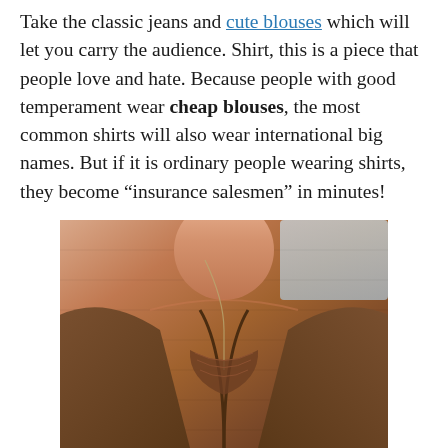Take the classic jeans and cute blouses which will let you carry the audience. Shirt, this is a piece that people love and hate. Because people with good temperament wear cheap blouses, the most common shirts will also wear international big names. But if it is ordinary people wearing shirts, they become “insurance salesmen” in minutes!
[Figure (photo): Close-up photo of a woman wearing a brown/rust-colored loose blouse with lace or embroidered details near the neckline, with a necklace visible. The photo is cropped to show the neck and upper chest/blouse area.]